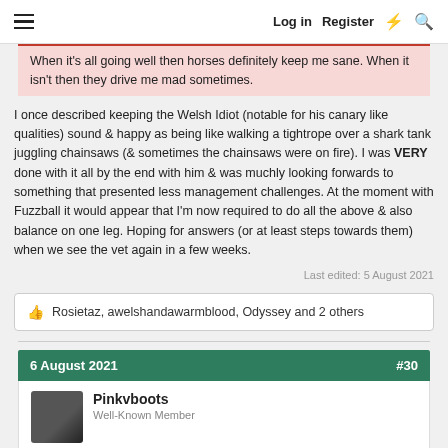Log in  Register
When it's all going well then horses definitely keep me sane. When it isn't then they drive me mad sometimes.
I once described keeping the Welsh Idiot (notable for his canary like qualities) sound & happy as being like walking a tightrope over a shark tank juggling chainsaws (& sometimes the chainsaws were on fire). I was VERY done with it all by the end with him & was muchly looking forwards to something that presented less management challenges. At the moment with Fuzzball it would appear that I'm now required to do all the above & also balance on one leg. Hoping for answers (or at least steps towards them) when we see the vet again in a few weeks.
Last edited: 5 August 2021
Rosietaz, awelshandawarmblood, Odyssey and 2 others
6 August 2021  #30
Pinkvboots
Well-Known Member